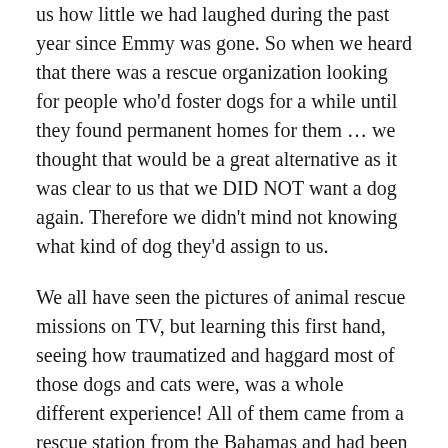us how little we had laughed during the past year since Emmy was gone. So when we heard that there was a rescue organization looking for people who'd foster dogs for a while until they found permanent homes for them … we thought that would be a great alternative as it was clear to us that we DID NOT want a dog again. Therefore we didn't mind not knowing what kind of dog they'd assign to us.
We all have seen the pictures of animal rescue missions on TV, but learning this first hand, seeing how traumatized and haggard most of those dogs and cats were, was a whole different experience! All of them came from a rescue station from the Bahamas and had been abused and discarded before being saved by these amazing people from the Bahamas Humane Society. Unfortunately, they are flooded with animals and can only do so much, but what they do to help and save these little creatures is beyond amazing! But